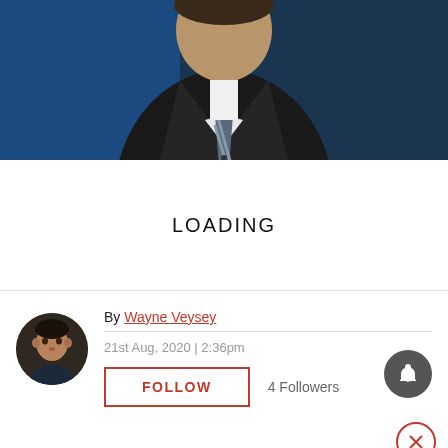[Figure (photo): Cropped photo of a man in a dark suit with a striped tie, blue background, torso visible]
LOADING
By Wayne Veysey
21st Aug, 2020 | 2:36pm
FOLLOW
4 Followers